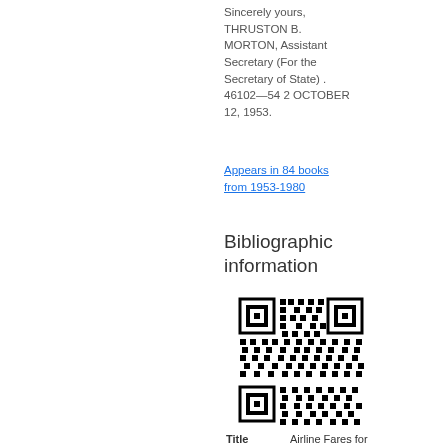Sincerely yours, THRUSTON B. MORTON, Assistant Secretary (For the Secretary of State) . 46102—54 2 OCTOBER 12, 1953.
Appears in 84 books from 1953-1980
Bibliographic information
[Figure (other): QR code for bibliographic information]
| Title |
| --- |
| Airline Fares for |